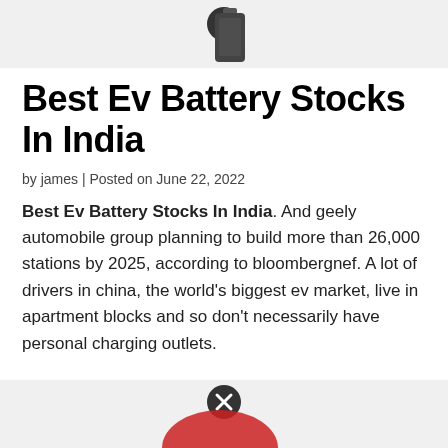[Figure (other): Top advertisement/image area with close (X) button icon, partially visible dark cylindrical battery object]
Best Ev Battery Stocks In India
by james | Posted on June 22, 2022
Best Ev Battery Stocks In India. And geely automobile group planning to build more than 26,000 stations by 2025, according to bloombergnef. A lot of drivers in china, the world’s biggest ev market, live in apartment blocks and so don’t necessarily have personal charging outlets.
[Figure (other): Bottom advertisement/image area with close (X) button icon, partially visible red graphic]